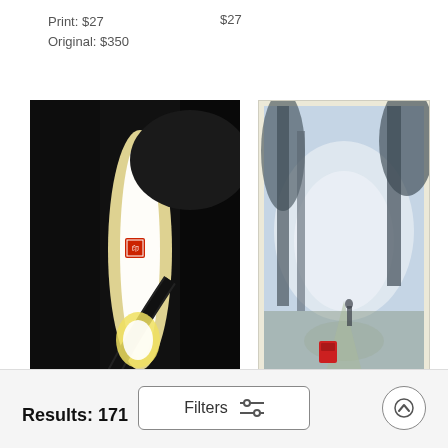Print: $27
Original: $350
$27
[Figure (photo): Dark abstract artwork with bright vertical light streak on dark textured background, with small red square seal stamp, signed at bottom right]
[Figure (photo): Misty foggy park scene with tall trees and silhouetted figure, small red mailbox in foreground, soft atmospheric blue-grey tones]
Results: 171
Filters
↑